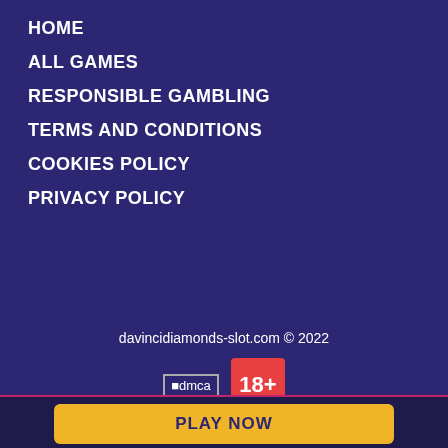HOME
ALL GAMES
RESPONSIBLE GAMBLING
TERMS AND CONDITIONS
COOKIES POLICY
PRIVACY POLICY
davincidiamonds-slot.com © 2022
[Figure (logo): dmca badge and 18+ age restriction badge]
If you are under 18 and gambling for money is banned in your country, play for free! Respect the laws of your state!
PLAY NOW